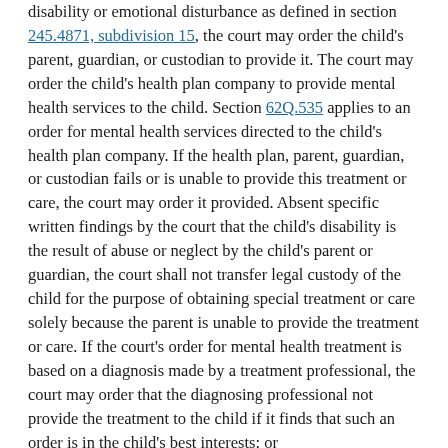disability or emotional disturbance as defined in section 245.4871, subdivision 15, the court may order the child's parent, guardian, or custodian to provide it. The court may order the child's health plan company to provide mental health services to the child. Section 62Q.535 applies to an order for mental health services directed to the child's health plan company. If the health plan, parent, guardian, or custodian fails or is unable to provide this treatment or care, the court may order it provided. Absent specific written findings by the court that the child's disability is the result of abuse or neglect by the child's parent or guardian, the court shall not transfer legal custody of the child for the purpose of obtaining special treatment or care solely because the parent is unable to provide the treatment or care. If the court's order for mental health treatment is based on a diagnosis made by a treatment professional, the court may order that the diagnosing professional not provide the treatment to the child if it finds that such an order is in the child's best interests; or
(5) if the court believes that the child has sufficient maturity and judgment and that it is in the best interests of the child, the court may order a child 16 years old or older to be allowed to live independently, either alone or with others as